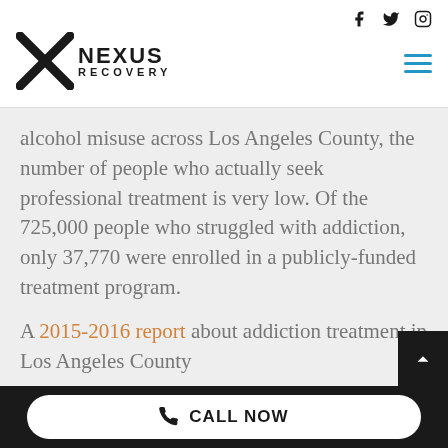[Figure (logo): Nexus Recovery logo with stylized X and text NEXUS RECOVERY]
alcohol misuse across Los Angeles County, the number of people who actually seek professional treatment is very low. Of the 725,000 people who struggled with addiction, only 37,770 were enrolled in a publicly-funded treatment program.
A 2015-2016 report about addiction treatment in Los Angeles County
CALL NOW